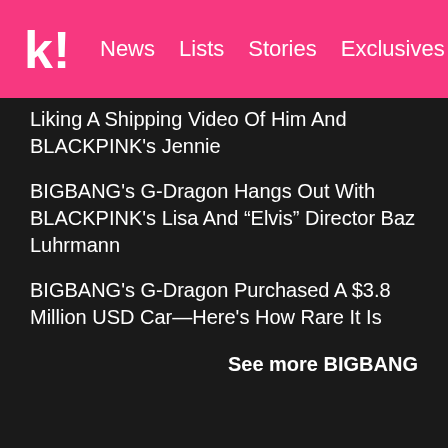Koreaboo | News | Lists | Stories | Exclusives
Liking A Shipping Video Of Him And BLACKPINK's Jennie
BIGBANG's G-Dragon Hangs Out With BLACKPINK's Lisa And “Elvis” Director Baz Luhrmann
BIGBANG's G-Dragon Purchased A $3.8 Million USD Car—Here's How Rare It Is
See more BIGBANG
Share This Post
Facebook
Twitter